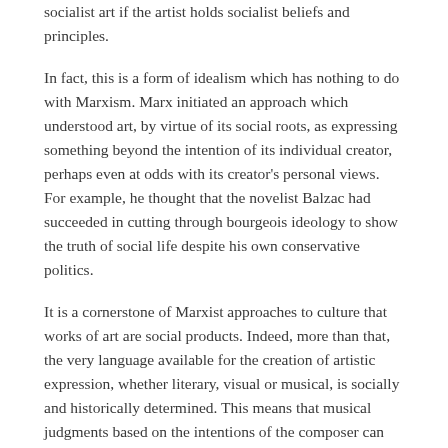socialist art if the artist holds socialist beliefs and principles.
In fact, this is a form of idealism which has nothing to do with Marxism. Marx initiated an approach which understood art, by virtue of its social roots, as expressing something beyond the intention of its individual creator, perhaps even at odds with its creator's personal views. For example, he thought that the novelist Balzac had succeeded in cutting through bourgeois ideology to show the truth of social life despite his own conservative politics.
It is a cornerstone of Marxist approaches to culture that works of art are social products. Indeed, more than that, the very language available for the creation of artistic expression, whether literary, visual or musical, is socially and historically determined. This means that musical judgments based on the intentions of the composer can never be the whole story. But it also means that simply pointing to the social roots of a particular music is not enough either.